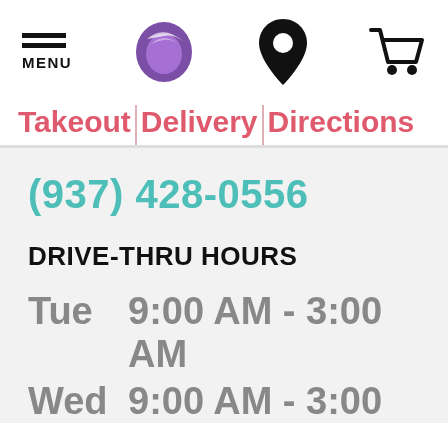[Figure (screenshot): Taco Bell website header with hamburger menu icon labeled MENU, Taco Bell logo (purple), location pin icon, and shopping cart icon]
Takeout | Delivery Directions
(937) 428-0556
DRIVE-THRU HOURS
Tue    9:00 AM - 3:00 AM
Wed   9:00 AM - 3:00